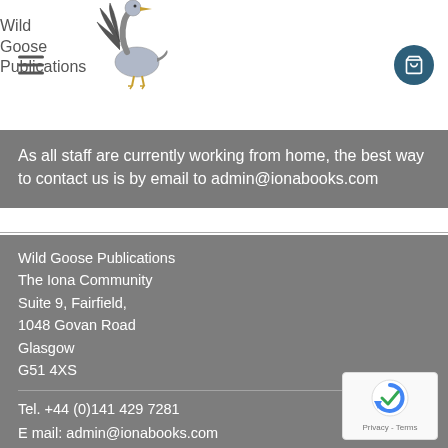[Figure (logo): Wild Goose Publications logo with flying goose illustration and text]
As all staff are currently working from home, the best way to contact us is by email to admin@ionabooks.com
Wild Goose Publications
The Iona Community
Suite 9, Fairfield,
1048 Govan Road
Glasgow
G51 4XS
Tel. +44 (0)141 429 7281
E mail: admin@ionabooks.com
Scottish Charity Reg. No. SC003794
[Figure (logo): reCAPTCHA badge with Privacy and Terms links]